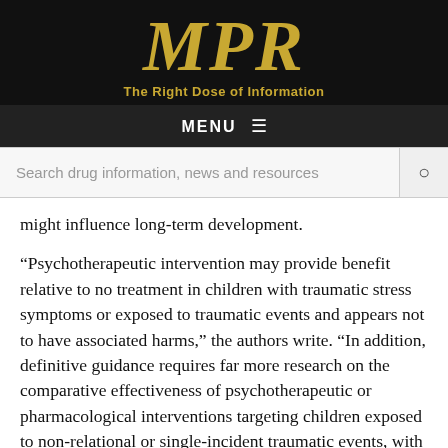[Figure (logo): MPR logo with text 'The Right Dose of Information' on black background]
MENU ≡
Search drug information, news and resources
might influence long-term development.
“Psychotherapeutic intervention may provide benefit relative to no treatment in children with traumatic stress symptoms or exposed to traumatic events and appears not to have associated harms,” the authors write. “In addition, definitive guidance requires far more research on the comparative effectiveness of psychotherapeutic or pharmacological interventions targeting children exposed to non-relational or single-incident traumatic events, with or